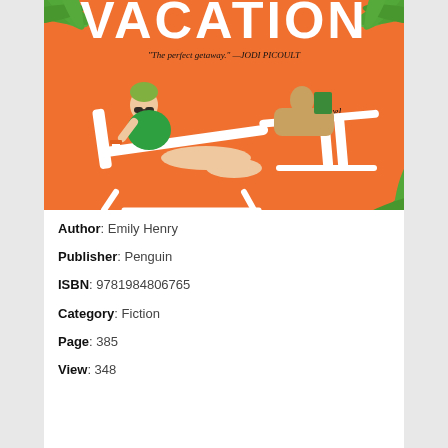[Figure (illustration): Book cover of 'Vacation' by Emily Henry. Orange background with illustration of two women lounging on white beach chairs, palm leaves in corners. Quote from Jodi Picoult: 'The perfect getaway.' Subtitle: 'a novel'.]
Author: Emily Henry
Publisher: Penguin
ISBN: 9781984806765
Category: Fiction
Page: 385
View: 348